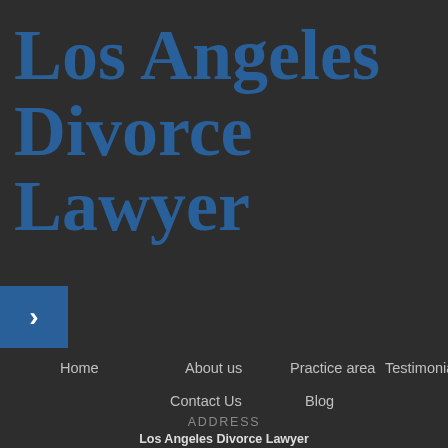Los Angeles Divorce Lawyer
[Figure (other): Blue square button with a right-pointing chevron/arrow icon]
Home
About us
Practice area
Testimonials
Contact Us
Blog
ADDRESS
Los Angeles Divorce Lawyer
10801 National Blvd